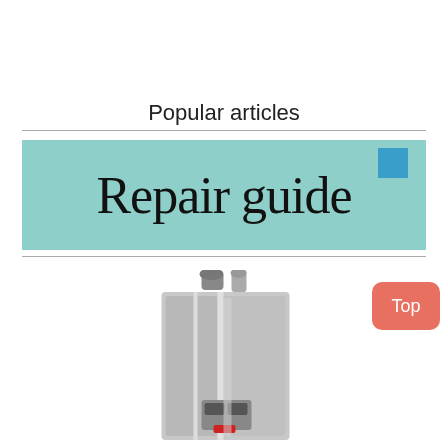Popular articles
[Figure (illustration): Teal/mint background banner with the text 'Repair guide' in large serif font and a blue square in the top-right corner]
[Figure (photo): Photo of a Rinnai tankless water heater unit (silver/gray box with pipes on top)]
Top